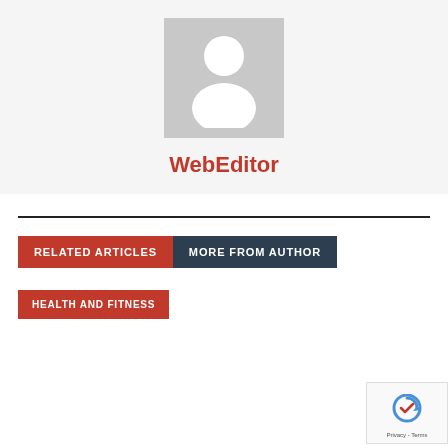[Figure (illustration): Default user avatar placeholder — grey square with white silhouette of a person (head and shoulders)]
WebEditor
RELATED ARTICLES   MORE FROM AUTHOR
HEALTH AND FITNESS
[Figure (logo): reCAPTCHA badge with logo and Privacy/Terms text]